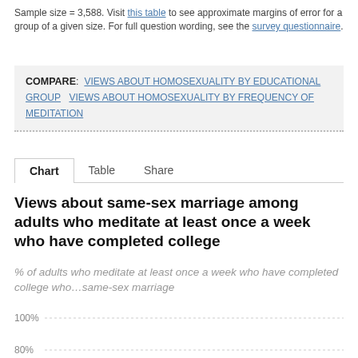Sample size = 3,588. Visit this table to see approximate margins of error for a group of a given size. For full question wording, see the survey questionnaire.
COMPARE: VIEWS ABOUT HOMOSEXUALITY BY EDUCATIONAL GROUP   VIEWS ABOUT HOMOSEXUALITY BY FREQUENCY OF MEDITATION
Chart   Table   Share
Views about same-sex marriage among adults who meditate at least once a week who have completed college
% of adults who meditate at least once a week who have completed college who…same-sex marriage
[Figure (line-chart): Partial line chart visible showing y-axis gridlines at 100% and 80%, chart is cut off at bottom of page]